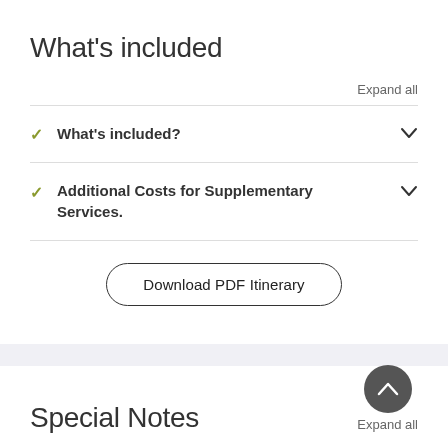What's included
Expand all
What's included?
Additional Costs for Supplementary Services.
Download PDF Itinerary
Special Notes
Expand all